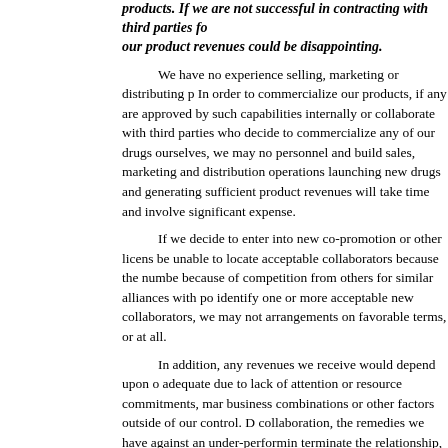products. If we are not successful in contracting with third parties for our product revenues could be disappointing.
We have no experience selling, marketing or distributing p... In order to commercialize our products, if any are approved by such capabilities internally or collaborate with third parties who decide to commercialize any of our drugs ourselves, we may no personnel and build sales, marketing and distribution operations launching new drugs and generating sufficient product revenues will take time and involve significant expense.
If we decide to enter into new co-promotion or other licens be unable to locate acceptable collaborators because the numbe because of competition from others for similar alliances with po identify one or more acceptable new collaborators, we may not arrangements on favorable terms, or at all.
In addition, any revenues we receive would depend upon o adequate due to lack of attention or resource commitments, mar business combinations or other factors outside of our control. D collaboration, the remedies we have against an under-performin terminate the relationship, it may be difficult or impossible to fi terms, or at all.
Risks Related to Ownership of Our Common Stock
Our issuance of additional shares of Common Stock or convertible s company to acquire us, may dilute your ownership of us and could a
From time to time in the future, we may issue additional sh